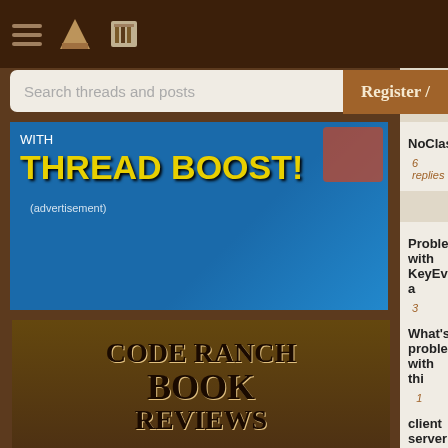CodeRanch forum header with hamburger menu and icons
[Figure (screenshot): Blue advertisement banner with Thread Boost promotion and search bar overlay]
[Figure (illustration): Code Ranch Book Reviews advertisement with western-style typography on bookshelf background]
[Figure (illustration): Meaningless Drivel advertisement with T-Rex wearing top hat]
Register /
NoClassDefFoundError
6 replies
Problem with KeyEvent a
3 replies
What's problem with thi
1 reply
client server gui
4 replies
Socket program for linux
9 replies